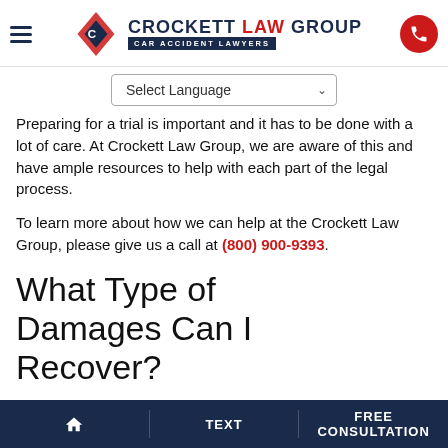[Figure (logo): Crockett Law Group logo with diamond-shaped icon and text 'CROCKETT LAW GROUP CAR ACCIDENT LAWYERS', hamburger menu icon on left, red phone button on right]
Select Language
Preparing for a trial is important and it has to be done with a lot of care. At Crockett Law Group, we are aware of this and have ample resources to help with each part of the legal process.
To learn more about how we can help at the Crockett Law Group, please give us a call at (800) 900-9393.
What Type of Damages Can I Recover?
HOME   TEXT   FREE CONSULTATION